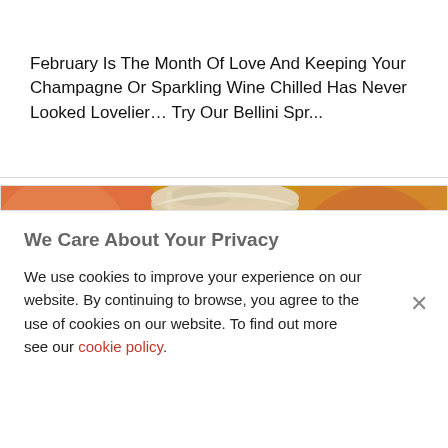February Is The Month Of Love And Keeping Your Champagne Or Sparkling Wine Chilled Has Never Looked Lovelier… Try Our Bellini Spr...
[Figure (photo): Close-up photo of a tall glass filled with a golden-yellow beverage, frothy at the top, set against a warm orange/yellow background]
Mocha Pedro
We Care About Your Privacy
We use cookies to improve your experience on our website. By continuing to browse, you agree to the use of cookies on our website. To find out more see our cookie policy.